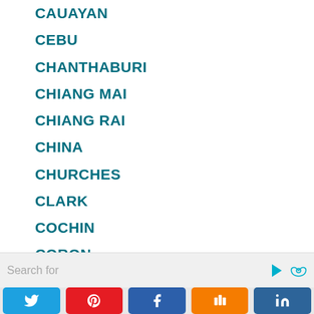CAUAYAN
CEBU
CHANTHABURI
CHIANG MAI
CHIANG RAI
CHINA
CHURCHES
CLARK
COCHIN
CORON
DAGUPAN
DAPITAN CITY
Search for